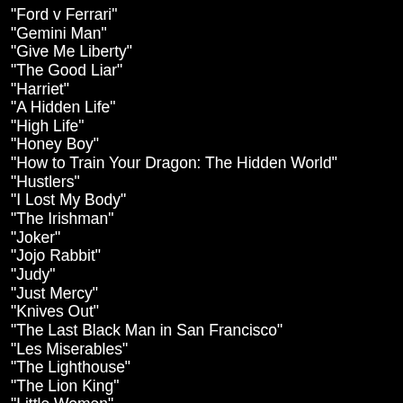"Ford v Ferrari"
"Gemini Man"
"Give Me Liberty"
"The Good Liar"
"Harriet"
"A Hidden Life"
"High Life"
"Honey Boy"
"How to Train Your Dragon: The Hidden World"
"Hustlers"
"I Lost My Body"
"The Irishman"
"Joker"
"Jojo Rabbit"
"Judy"
"Just Mercy"
"Knives Out"
"The Last Black Man in San Francisco"
"Les Miserables"
"The Lighthouse"
"The Lion King"
"Little Women"